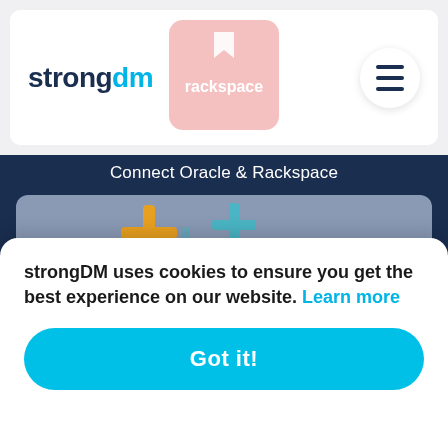strongdm
[Figure (logo): Rackspace logo badge, pink/red background with white text]
[Figure (illustration): Hamburger menu icon (three horizontal lines) in a white circle]
Connect Oracle & Rackspace
[Figure (illustration): Integration card with colorful plus/cross icons in orange, teal, purple, red, blue on a blue-gray background]
Connect Oracle & Tableau
[Figure (screenshot): Partially visible bottom integration card]
strongDM uses cookies to ensure you get the best experience on our website. Learn more
Got it!